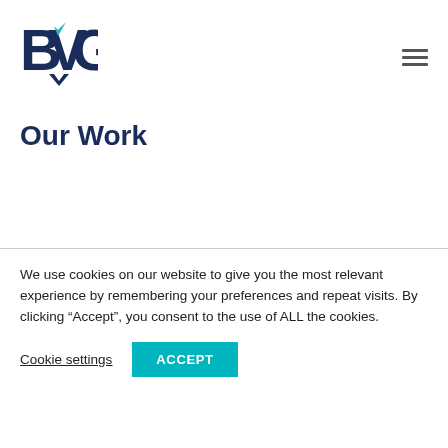BVG logo and navigation
Our Work
We use cookies on our website to give you the most relevant experience by remembering your preferences and repeat visits. By clicking “Accept”, you consent to the use of ALL the cookies.
Cookie settings  ACCEPT